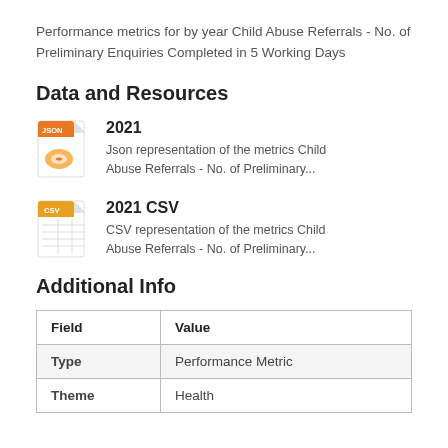Performance metrics for by year Child Abuse Referrals - No. of Preliminary Enquiries Completed in 5 Working Days
Data and Resources
[Figure (illustration): JSON file icon with orange header label reading JSON]
2021
Json representation of the metrics Child Abuse Referrals - No. of Preliminary...
[Figure (illustration): CSV file icon with orange header label reading CSV]
2021 CSV
CSV representation of the metrics Child Abuse Referrals - No. of Preliminary...
Additional Info
| Field | Value |
| --- | --- |
| Type | Performance Metric |
| Theme | Health |